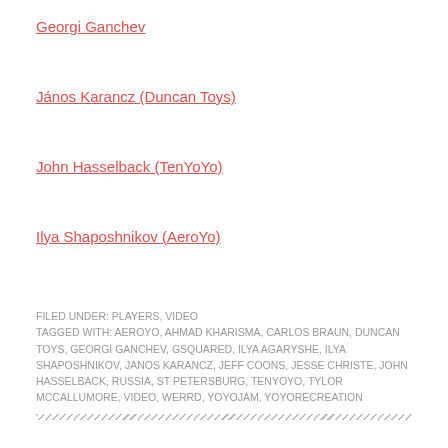Georgi Ganchev
János Karancz (Duncan Toys)
John Hasselback (TenYoYo)
Ilya Shaposhnikov (AeroYo)
FILED UNDER: PLAYERS, VIDEO
TAGGED WITH: AEROYO, AHMAD KHARISMA, CARLOS BRAUN, DUNCAN TOYS, GEORGI GANCHEV, GSQUARED, ILYA AGARYSHE, ILYA SHAPOSHNIKOV, JANOS KARANCZ, JEFF COONS, JESSE CHRISTE, JOHN HASSELBACK, RUSSIA, ST PETERSBURG, TENYOYO, TYLOR MCCALLUMORE, VIDEO, WERRD, YOYOJAM, YOYORECREATION